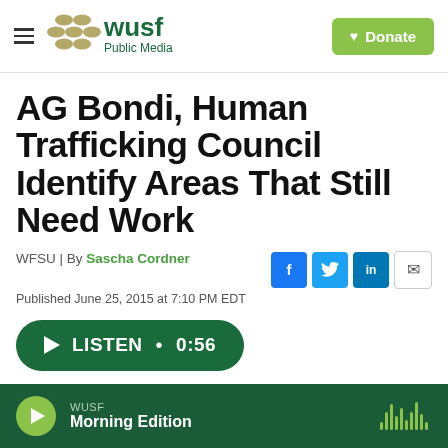WUSF Public Media | Donate
AG Bondi, Human Trafficking Council Identify Areas That Still Need Work
WFSU | By Sascha Cordner
Published June 25, 2015 at 7:10 PM EDT
LISTEN • 0:56
WUSF Morning Edition